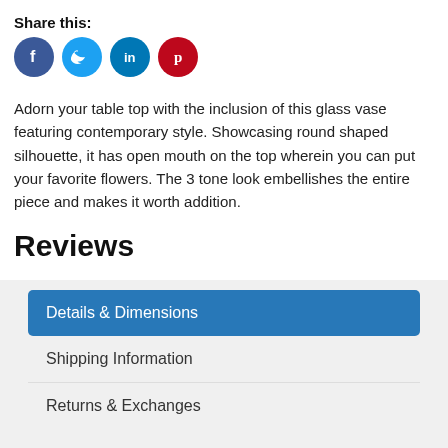Share this:
[Figure (infographic): Social share icons: Facebook (blue circle), Twitter (light blue circle), LinkedIn (teal circle), Pinterest (red circle)]
Adorn your table top with the inclusion of this glass vase featuring contemporary style. Showcasing round shaped silhouette, it has open mouth on the top wherein you can put your favorite flowers. The 3 tone look embellishes the entire piece and makes it worth addition.
Reviews
Details & Dimensions
Shipping Information
Returns & Exchanges